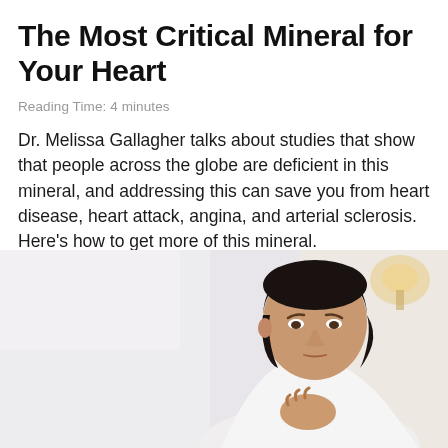The Most Critical Mineral for Your Heart
Reading Time: 4 minutes
Dr. Melissa Gallagher talks about studies that show that people across the globe are deficient in this mineral, and addressing this can save you from heart disease, heart attack, angina, and arterial sclerosis. Here’s how to get more of this mineral.
[Figure (photo): Woman with dark short hair wearing a white shirt, clutching her chest with a pained expression, suggestive of heart pain or discomfort, with a blurred light background.]